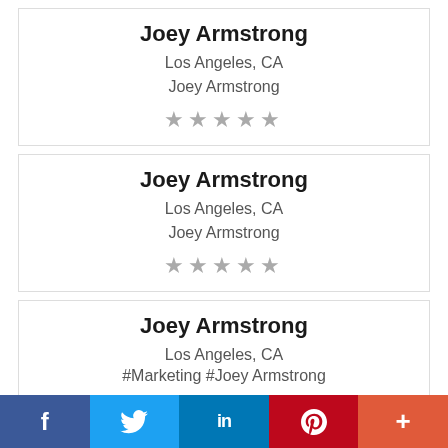Joey Armstrong
Los Angeles, CA
Joey Armstrong
★★★★★
Joey Armstrong
Los Angeles, CA
Joey Armstrong
★★★★★
Joey Armstrong
Los Angeles, CA
#Marketing #Joey Armstrong
★★★★★
Joey Armstrong
f  Twitter  in  Pinterest  +